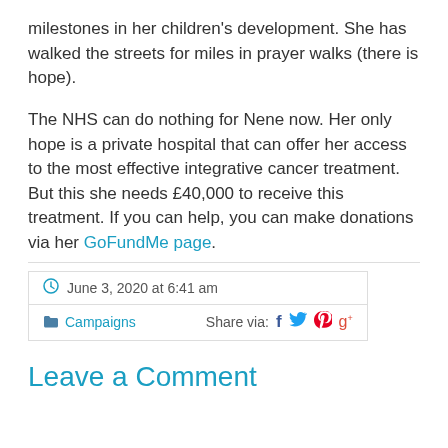milestones in her children's development. She has walked the streets for miles in prayer walks (there is hope).

The NHS can do nothing for Nene now. Her only hope is a private hospital that can offer her access to the most effective integrative cancer treatment. But this she needs £40,000 to receive this treatment. If you can help, you can make donations via her GoFundMe page.
June 3, 2020 at 6:41 am
Campaigns
Share via:
Leave a Comment